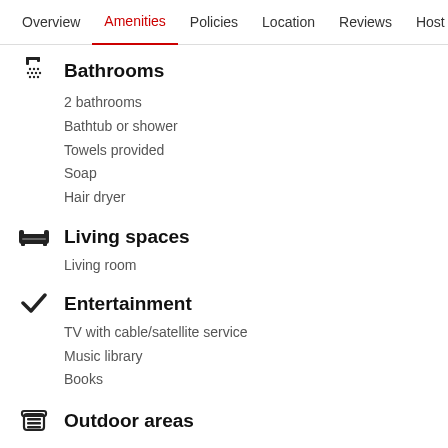Overview | Amenities | Policies | Location | Reviews | Host
Bathrooms
2 bathrooms
Bathtub or shower
Towels provided
Soap
Hair dryer
Living spaces
Living room
Entertainment
TV with cable/satellite service
Music library
Books
Outdoor areas